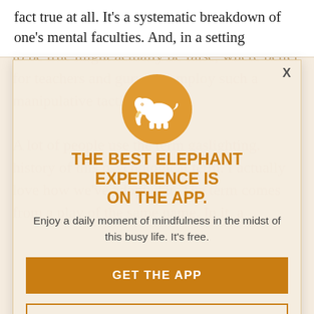fact true at all. It's a systematic breakdown of one's mental faculties. And, in a setting
[Figure (infographic): App promotion modal overlay on a webpage. Contains an orange elephant logo circle, headline text, subtitle, and two buttons.]
THE BEST ELEPHANT EXPERIENCE IS ON THE APP.
Enjoy a daily moment of mindfulness in the midst of this busy life. It's free.
GET THE APP
OPEN IN APP